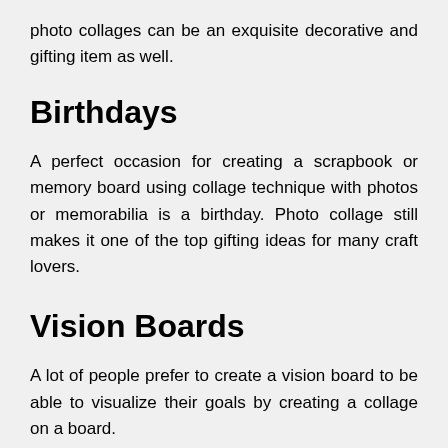photo collages can be an exquisite decorative and gifting item as well.
Birthdays
A perfect occasion for creating a scrapbook or memory board using collage technique with photos or memorabilia is a birthday. Photo collage still makes it one of the top gifting ideas for many craft lovers.
Vision Boards
A lot of people prefer to create a vision board to be able to visualize their goals by creating a collage on a board.